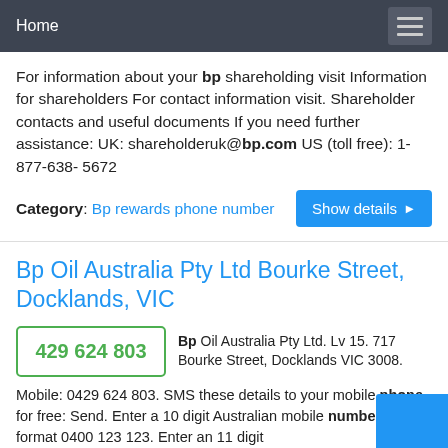Home
For information about your bp shareholding visit Information for shareholders For contact information visit. Shareholder contacts and useful documents If you need further assistance: UK: shareholderuk@bp.com US (toll free): 1-877-638- 5672
Category: Bp rewards phone number
Bp Oil Australia Pty Ltd Bourke Street, Docklands, VIC
429 624 803
Bp Oil Australia Pty Ltd. Lv 15. 717 Bourke Street, Docklands VIC 3008. Mobile: 0429 624 803. SMS these details to your mobile phone for free: Send. Enter a 10 digit Australian mobile number in the format 0400 123 123. Enter an 11 digit